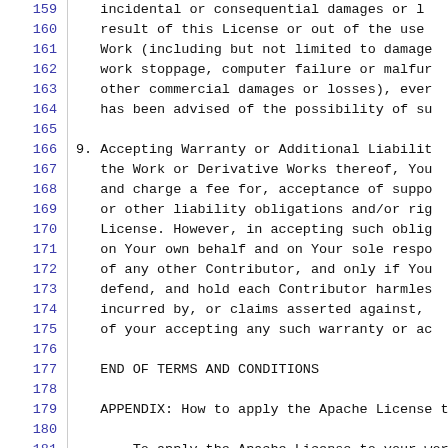159   incidental or consequential damages or l
160   result of this License or out of the use
161   Work (including but not limited to damage
162   work stoppage, computer failure or malfur
163   other commercial damages or losses), ever
164   has been advised of the possibility of su
165
166 9. Accepting Warranty or Additional Liabilit
167   the Work or Derivative Works thereof, You
168   and charge a fee for, acceptance of suppo
169   or other liability obligations and/or rig
170   License. However, in accepting such oblig
171   on Your own behalf and on Your sole respo
172   of any other Contributor, and only if You
173   defend, and hold each Contributor harmles
174   incurred by, or claims asserted against,
175   of your accepting any such warranty or ac
176
177   END OF TERMS AND CONDITIONS
178
179   APPENDIX: How to apply the Apache License to
180
181       To apply the Apache License to your work,